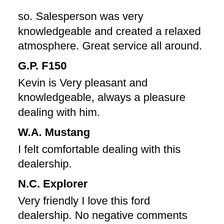so. Salesperson was very knowledgeable and created a relaxed atmosphere. Great service all around.
G.P. F150
Kevin is Very pleasant and knowledgeable, always a pleasure dealing with him.
W.A. Mustang
I felt comfortable dealing with this dealership.
N.C. Explorer
Very friendly I love this ford dealership. No negative comments this time.
J.S. F150
they were able to fit me in even though they were all booked up because I was going on holidays the next morning.
C.H. F150